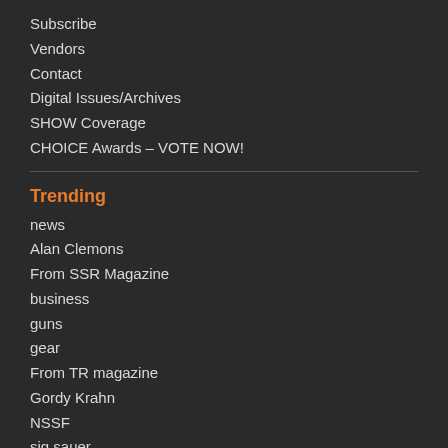Subscribe
Vendors
Contact
Digital Issues/Archives
SHOW Coverage
CHOICE Awards – VOTE NOW!
Trending
news
Alan Clemons
From SSR Magazine
business
guns
gear
From TR magazine
Gordy Krahn
NSSF
sig sauer
Publications & Tradeshows